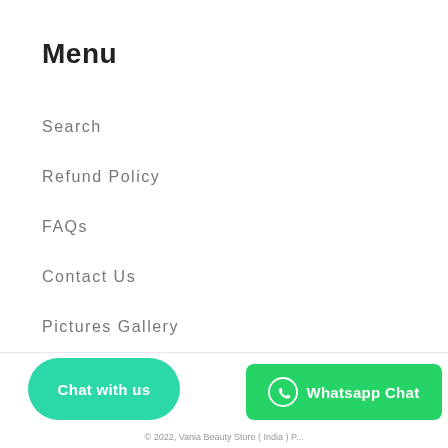Menu
Search
Refund Policy
FAQs
Contact Us
Pictures Gallery
Chat with us
Whatsapp Chat
© 2022, Vania Beauty Store ( India ) P...